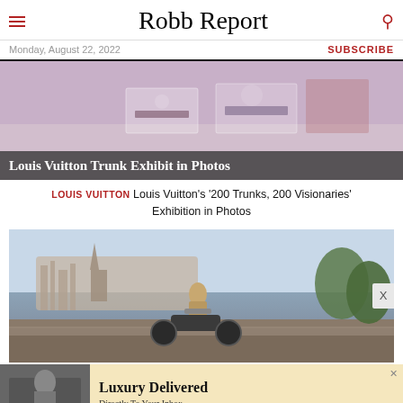Robb Report
Monday, August 22, 2022
SUBSCRIBE
[Figure (photo): Louis Vuitton trunk exhibit display room with glass cases showing trunks and items, overhead view]
Louis Vuitton Trunk Exhibit in Photos
LOUIS VUITTON Louis Vuitton's '200 Trunks, 200 Visionaries' Exhibition in Photos
[Figure (photo): Man on a motorcycle in an outdoor setting with ancient stone buildings on hillside in background]
[Figure (photo): Advertisement: Luxury Delivered Directly To Your Inbox]